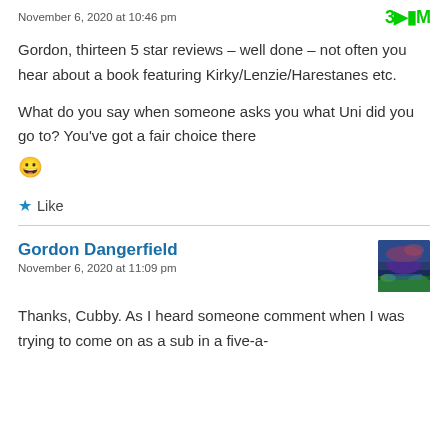November 6, 2020 at 10:46 pm
Gordon, thirteen 5 star reviews – well done – not often you hear about a book featuring Kirky/Lenzie/Harestanes etc.
What do you say when someone asks you what Uni did you go to? You've got a fair choice there 😀
Like
Gordon Dangerfield
November 6, 2020 at 11:09 pm
Thanks, Cubby. As I heard someone comment when I was trying to come on as a sub in a five-a-